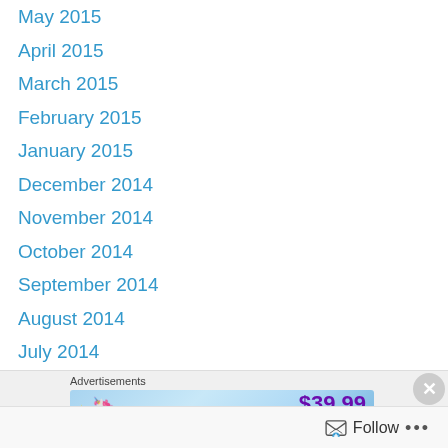May 2015
April 2015
March 2015
February 2015
January 2015
December 2014
November 2014
October 2014
September 2014
August 2014
July 2014
June 2014
May 2014
April 2014
March 2014
February 2014
January 2014
Advertisements
[Figure (infographic): Advertisement banner showing $39.99 a year with sparkle and unicorn graphics on a blue gradient background]
Follow ...